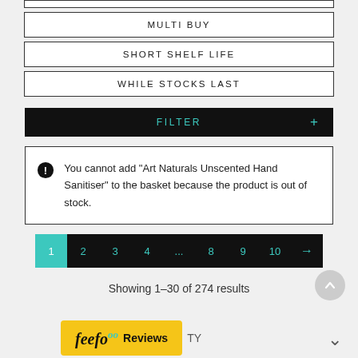MULTI BUY
SHORT SHELF LIFE
WHILE STOCKS LAST
FILTER +
You cannot add "Art Naturals Unscented Hand Sanitiser" to the basket because the product is out of stock.
1 2 3 4 ... 8 9 10 →
Showing 1–30 of 274 results
[Figure (logo): feefo logo with 'Reviews' text on yellow badge, followed by 'TY' text and a down chevron]